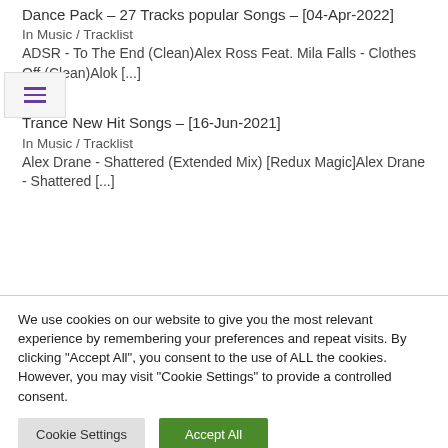Dance Pack – 27 Tracks popular Songs – [04-Apr-2022]
In Music / Tracklist
ADSR - To The End (Clean)Alex Ross Feat. Mila Falls - Clothes Off (Clean)Alok [...]
Trance New Hit Songs – [16-Jun-2021]
In Music / Tracklist
Alex Drane - Shattered (Extended Mix) [Redux Magic]Alex Drane - Shattered [...]
We use cookies on our website to give you the most relevant experience by remembering your preferences and repeat visits. By clicking "Accept All", you consent to the use of ALL the cookies. However, you may visit "Cookie Settings" to provide a controlled consent.